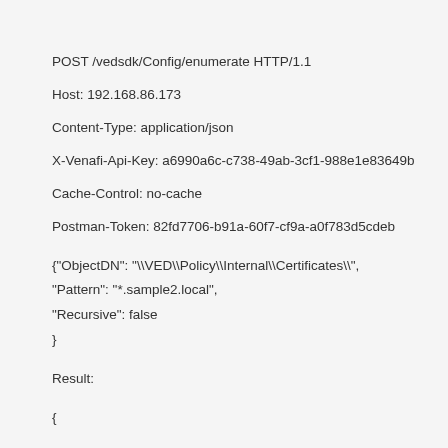POST /vedsdk/Config/enumerate HTTP/1.1
Host: 192.168.86.173
Content-Type: application/json
X-Venafi-Api-Key: a6990a6c-c738-49ab-3cf1-988e1e83649b
Cache-Control: no-cache
Postman-Token: 82fd7706-b91a-60f7-cf9a-a0f783d5cdeb
{"ObjectDN": "\\VED\\Policy\\Internal\\Certificates\\",
"Pattern": "*.sample2.local",
"Recursive": false
}
Result:
{